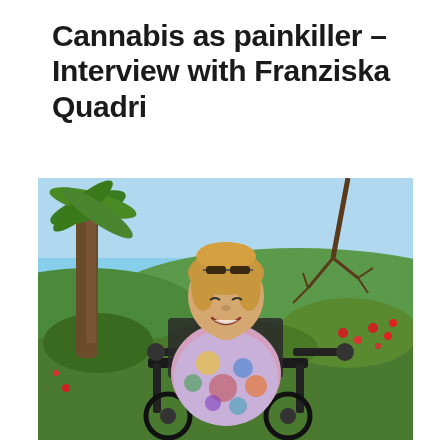Cannabis as painkiller – Interview with Franziska Quadri
[Figure (photo): A smiling woman with blonde hair and sunglasses on her head sits in a motorized wheelchair outdoors. She is wearing a colorful patterned blouse. In the background there are palm trees, green bushes, red flowers, and a blue sky with hills visible in the distance.]